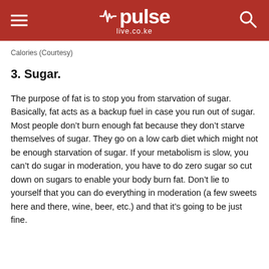pulse live.co.ke
Calories (Courtesy)
3. Sugar.
The purpose of fat is to stop you from starvation of sugar. Basically, fat acts as a backup fuel in case you run out of sugar. Most people don’t burn enough fat because they don’t starve themselves of sugar. They go on a low carb diet which might not be enough starvation of sugar. If your metabolism is slow, you can’t do sugar in moderation, you have to do zero sugar so cut down on sugars to enable your body burn fat. Don’t lie to yourself that you can do everything in moderation (a few sweets here and there, wine, beer, etc.) and that it’s going to be just fine.